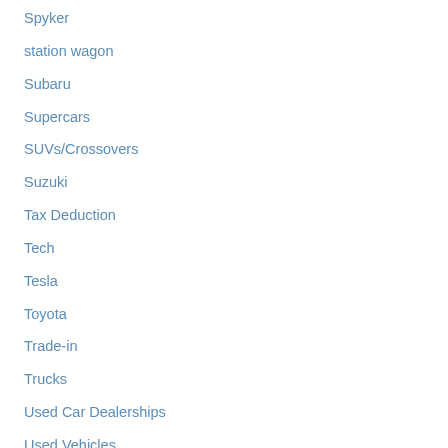Spyker
station wagon
Subaru
Supercars
SUVs/Crossovers
Suzuki
Tax Deduction
Tech
Tesla
Toyota
Trade-in
Trucks
Used Car Dealerships
Used Vehicles